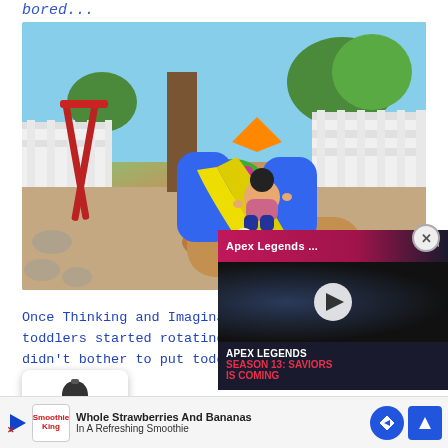bored...
[Figure (screenshot): Screenshot from The Sims 4 showing a toddler sim sliding down a yellow plastic slide in a backyard playground with a white picket fence, swing set, and garden.]
[Figure (screenshot): Overlay video popup for 'Apex Legends Season 13: Saviors is Coming' with play button, pink/red header bar, and dark background showing a game character.]
Once Thinking and Imagination toddlers started rotating between activities, I didn't bother to put toddler potties in the house since the scenario only required 4 skills to be built. It was easy... skill The to... g
[Figure (screenshot): Close (X) button circular icon overlaid on page corner.]
[Figure (screenshot): Bell/notification icon popup overlay at bottom left of page.]
[Figure (screenshot): Bottom advertisement banner for Smoothie King showing 'Whole Strawberries And Bananas In A Refreshing Smoothie' with navigation arrows.]